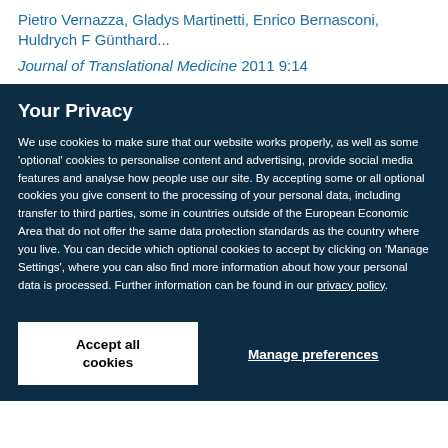Pietro Vernazza, Gladys Martinetti, Enrico Bernasconi, Huldrych F Günthard...
Journal of Translational Medicine 2011 9:14
Your Privacy
We use cookies to make sure that our website works properly, as well as some 'optional' cookies to personalise content and advertising, provide social media features and analyse how people use our site. By accepting some or all optional cookies you give consent to the processing of your personal data, including transfer to third parties, some in countries outside of the European Economic Area that do not offer the same data protection standards as the country where you live. You can decide which optional cookies to accept by clicking on 'Manage Settings', where you can also find more information about how your personal data is processed. Further information can be found in our privacy policy.
Accept all cookies
Manage preferences